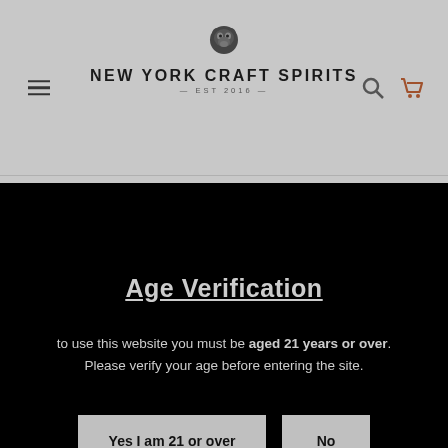NEW YORK CRAFT SPIRITS — EST 2016
Age Verification
to use this website you must be aged 21 years or over. Please verify your age before entering the site.
Yes I am 21 or over
No
CONTACT US